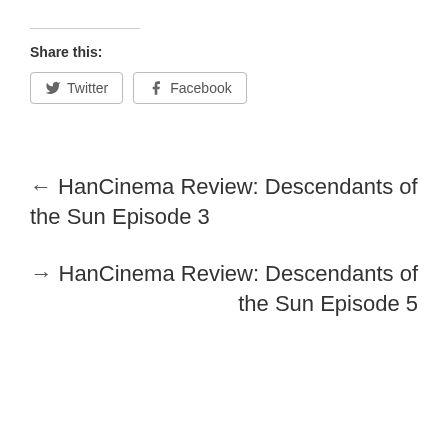Share this:
Twitter  Facebook
← HanCinema Review: Descendants of the Sun Episode 3
→ HanCinema Review: Descendants of the Sun Episode 5